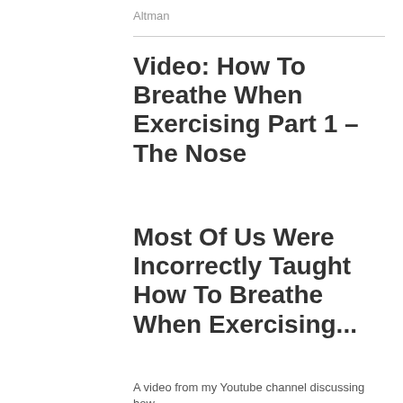Altman
Video: How To Breathe When Exercising Part 1 – The Nose
Most Of Us Were Incorrectly Taught How To Breathe When Exercising...
A video from my Youtube channel discussing how